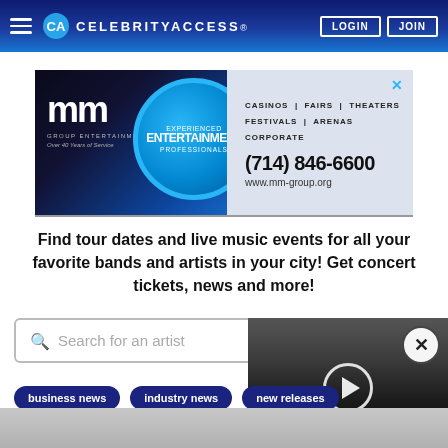CelebrityAccess® — LOGIN | JOIN
[Figure (infographic): MM Group Entertainment advertisement banner: 'Experienced Entertainment Professionals', phone (714) 846-6600, www.mm-group.org, categories: Casinos, Fairs, Theaters, Festivals, Arenas, Corporate]
Find tour dates and live music events for all your favorite bands and artists in your city! Get concert tickets, news and more!
Search for an artist
business news
industry news
new releases